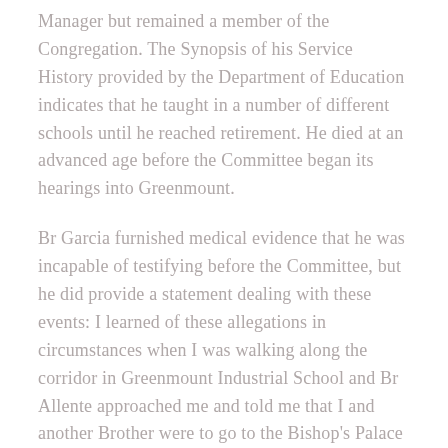Manager but remained a member of the Congregation. The Synopsis of his Service History provided by the Department of Education indicates that he taught in a number of different schools until he reached retirement. He died at an advanced age before the Committee began its hearings into Greenmount.
Br Garcia furnished medical evidence that he was incapable of testifying before the Committee, but he did provide a statement dealing with these events: I learned of these allegations in circumstances when I was walking along the corridor in Greenmount Industrial School and Br Allente approached me and told me that I and another Brother were to go to the Bishop's Palace to speak to Bishop Cornelius Lucey who was then the Bishop of Cork ... At this